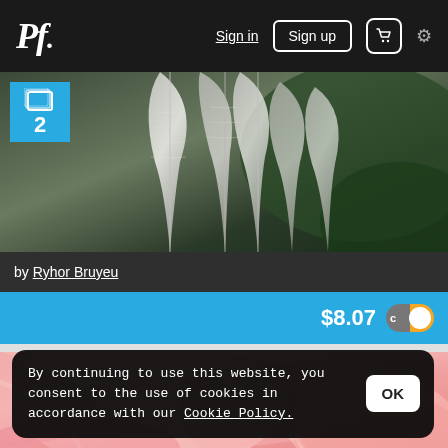Pf. Sign in Sign up 🛒 ⚙
[Figure (photo): Close-up of gray/white bird feathers on a dark green background]
2
by Ryhor Bruyeu
$8.07
[Figure (photo): Close-up of pink rose petals with soft gradient tones]
By continuing to use this website, you consent to the use of cookies in accordance with our Cookie Policy.
OK